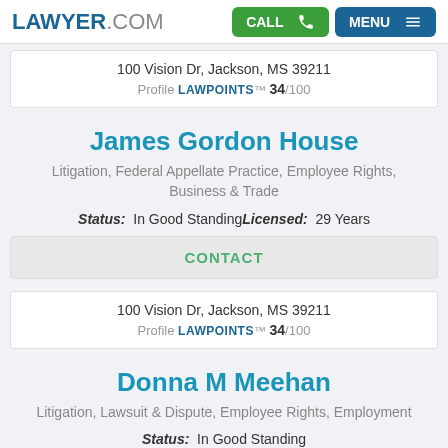LAWYER.COM | CALL | MENU
100 Vision Dr, Jackson, MS 39211
Profile LAWPOINTS™ 34/100
James Gordon House
Litigation, Federal Appellate Practice, Employee Rights, Business & Trade
Status: In Good Standing Licensed: 29 Years
CONTACT
100 Vision Dr, Jackson, MS 39211
Profile LAWPOINTS™ 34/100
Donna M Meehan
Litigation, Lawsuit & Dispute, Employee Rights, Employment
Status: In Good Standing
CONTACT